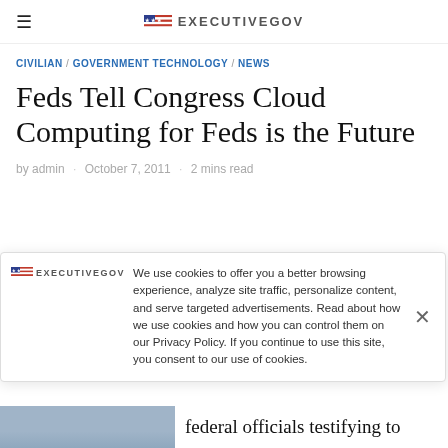≡ ExecutiveGov
CIVILIAN / GOVERNMENT TECHNOLOGY / NEWS
Feds Tell Congress Cloud Computing for Feds is the Future
by admin · October 7, 2011 · 2 mins read
We use cookies to offer you a better browsing experience, analyze site traffic, personalize content, and serve targeted advertisements. Read about how we use cookies and how you can control them on our Privacy Policy. If you continue to use this site, you consent to our use of cookies.
federal officials testifying to